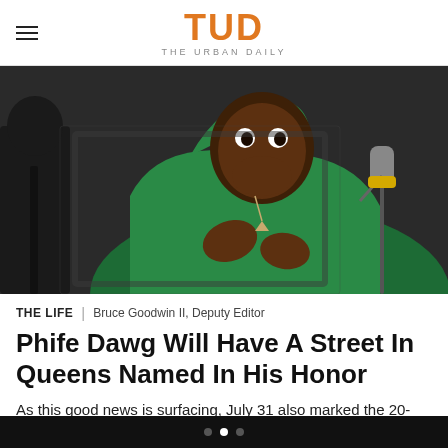TUD THE URBAN DAILY
[Figure (photo): A man in a green hoodie sitting, gesturing with his hands, with a microphone stand visible to the right and another person partially visible on the left. Dark background.]
THE LIFE | Bruce Goodwin II, Deputy Editor
Phife Dawg Will Have A Street In Queens Named In His Honor
As this good news is surfacing, July 31 also marked the 20-year